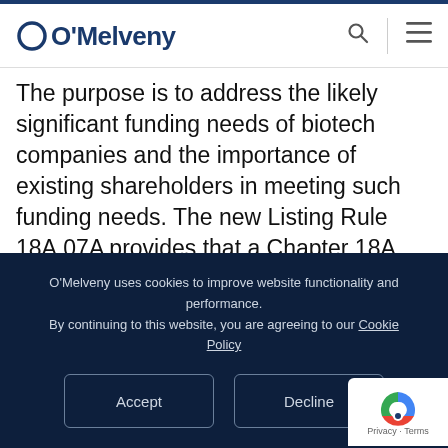O'Melveny
The purpose is to address the likely significant funding needs of biotech companies and the importance of existing shareholders in meeting such funding needs. The new Listing Rule 18A.07A provides that a Chapter 18A Applicant must, in addition to meeting the requirements of Listing Rule 8.08(1), ensure that a portion of the total
O'Melveny uses cookies to improve website functionality and performance. By continuing to this website, you are agreeing to our Cookie Policy
Accept
Decline